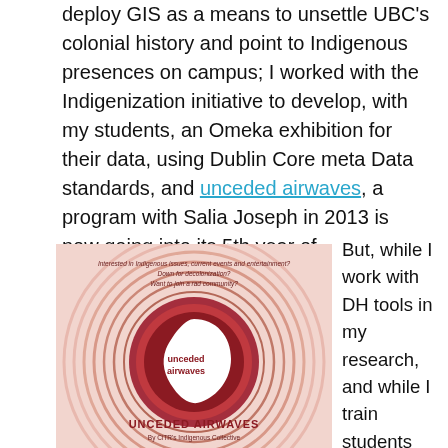deploy GIS as a means to unsettle UBC's colonial history and point to Indigenous presences on campus; I worked with the Indigenization initiative to develop, with my students, an Omeka exhibition for their data, using Dublin Core meta Data standards, and unceded airwaves, a program with Salia Joseph in 2013 is now going into its 5th year of broadcasting/podcasting.
[Figure (illustration): Promotional poster for 'Unceded Airwaves' by CiTR's Indigenous Collective. Shows concentric red/pink circles with a teardrop/yin shape in dark red. Text at top: 'Interested in Indigenous issues, current events and entertainment? Down for decolonization? Want to join a rad community?' Center text reads 'unceded airwaves'. Bottom text reads 'UNCEDED AIRWAVES By CiTR's Indigenous Collective'.]
But, while I work with DH tools in my research, and while I train students and staff to develop tools, I do not see my primary job in DH as a developer.